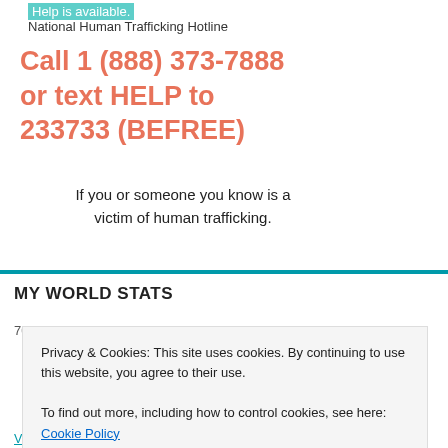National Human Trafficking Hotline
Call 1 (888) 373-7888 or text HELP to 233733 (BEFREE)
If you or someone you know is a victim of human trafficking.
MY WORLD STATS
70,361 hits
Privacy & Cookies: This site uses cookies. By continuing to use this website, you agree to their use. To find out more, including how to control cookies, see here: Cookie Policy
Close and accept
VISA Called Out By District Judge For Aiding PORNHUB To...